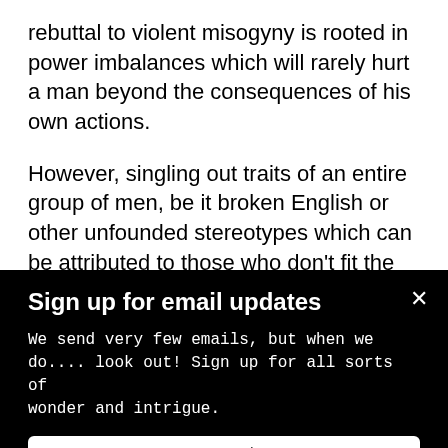rebuttal to violent misogyny is rooted in power imbalances which will rarely hurt a man beyond the consequences of his own actions.
However, singling out traits of an entire group of men, be it broken English or other unfounded stereotypes which can be attributed to those who don’t fit the “creepy Indian guy” bill, is based in ideals of white supremacy and racism.
Sign up for email updates
We send very few emails, but when we do.... look out! Sign up for all sorts of wonder and intrigue.
I want to know.